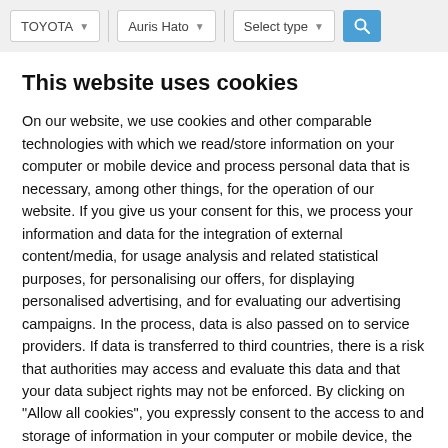TOYOTA | Auris Hato | Select type | [search]
This website uses cookies
On our website, we use cookies and other comparable technologies with which we read/store information on your computer or mobile device and process personal data that is necessary, among other things, for the operation of our website. If you give us your consent for this, we process your information and data for the integration of external content/media, for usage analysis and related statistical purposes, for personalising our offers, for displaying personalised advertising, and for evaluating our advertising campaigns. In the process, data is also passed on to service providers. If data is transferred to third countries, there is a risk that authorities may access and evaluate this data and that your data subject rights may not be enforced. By clicking on "Allow all cookies", you expressly consent to the access to and storage of information in your computer or mobile device, the processing of your personal data, and the transfer of your data to third countries for the above-mentioned purposes. By clicking on "Refuse all cookies" you refuse this. Your consent